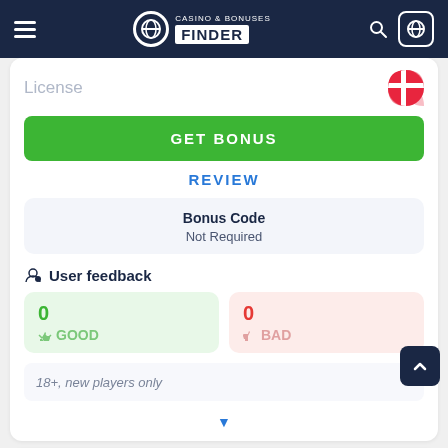Casino & Bonuses Finder
License
GET BONUS
REVIEW
Bonus Code
Not Required
User feedback
0 GOOD
0 BAD
18+, new players only
Cashable